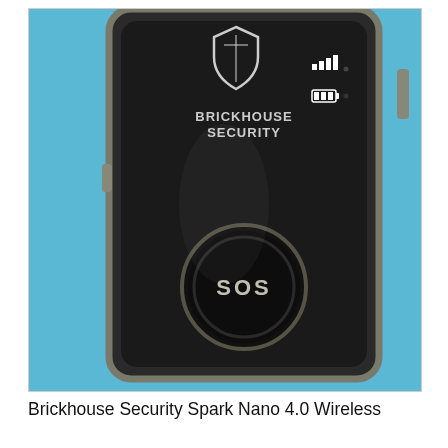[Figure (photo): Close-up photo of a Brickhouse Security Spark Nano 4.0 GPS tracking device. The device is black with rounded corners and a metal frame/border. It shows the Brickhouse Security logo (shield shape) and text 'BRICKHOUSE SECURITY' on the front face. On the right side are signal strength bars and a battery indicator icon. A large circular SOS button is prominently displayed in the lower center of the device. The background is bright blue.]
Brickhouse Security Spark Nano 4.0 Wireless